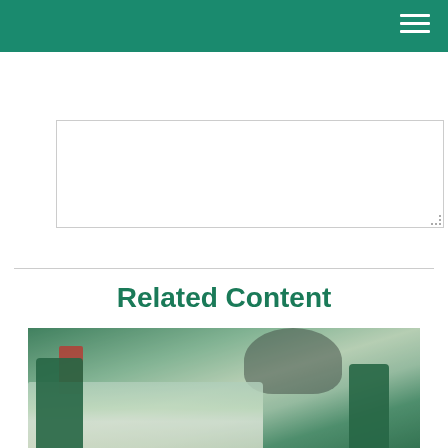[Figure (screenshot): Text area input field with resize handle in bottom-right corner]
[Figure (screenshot): SUBMIT button with green border and green uppercase text on white background]
Related Content
[Figure (photo): Photo of a diner or classroom setting with books/notebooks on a table, green chairs, and a person in the background. Green and white color scheme.]